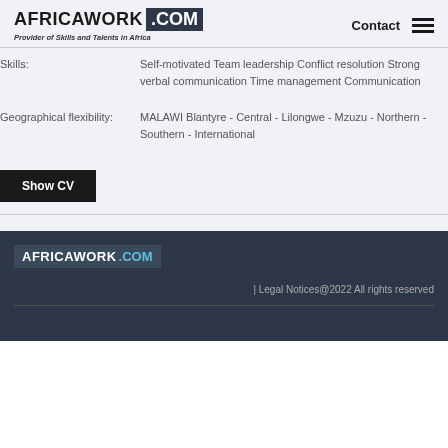AFRICAWORK .COM Provider of Skills and Talents in Africa Contact
Skills: Self-motivated Team leadership Conflict resolution Strong verbal communication Time management Communication
Geographical flexibility: MALAWI Blantyre - Central - Lilongwe - Mzuzu - Northern - Southern - International
Show CV
AFRICAWORK .COM | Legal Notices@2022 All rights reserved